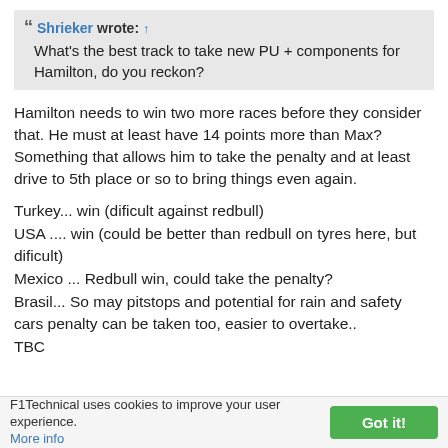Shrieker wrote: ↑ What's the best track to take new PU + components for Hamilton, do you reckon?
Hamilton needs to win two more races before they consider that. He must at least have 14 points more than Max?
Something that allows him to take the penalty and at least drive to 5th place or so to bring things even again.
Turkey... win (dificult against redbull)
USA .... win (could be better than redbull on tyres here, but dificult)
Mexico ... Redbull win, could take the penalty?
Brasil... So may pitstops and potential for rain and safety cars penalty can be taken too, easier to overtake..
TBC
F1Technical uses cookies to improve your user experience. More info  Got it!